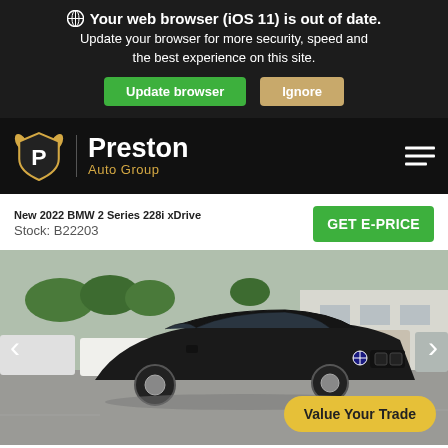Your web browser (iOS 11) is out of date. Update your browser for more security, speed and the best experience on this site.
Preston Auto Group
New 2022 BMW 2 Series 228i xDrive
Stock: B22203
[Figure (photo): Black 2022 BMW 2 Series 228i xDrive parked in a dealership lot with other vehicles in background]